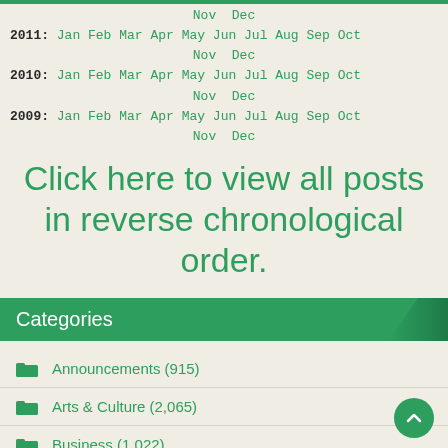Nov Dec
2011: Jan Feb Mar Apr May Jun Jul Aug Sep Oct Nov Dec
2010: Jan Feb Mar Apr May Jun Jul Aug Sep Oct Nov Dec
2009: Jan Feb Mar Apr May Jun Jul Aug Sep Oct Nov Dec
Click here to view all posts in reverse chronological order.
Categories
Announcements (915)
Arts & Culture (2,065)
Business (1,022)
Commentaries (544)